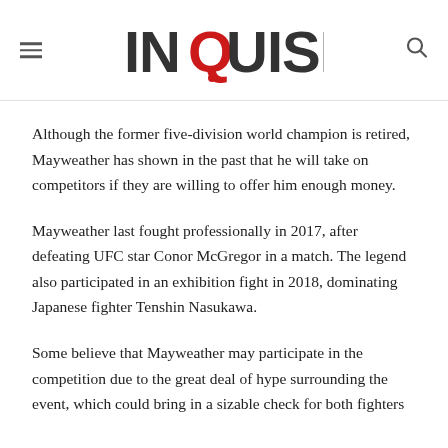INQUISITR
Although the former five-division world champion is retired, Mayweather has shown in the past that he will take on competitors if they are willing to offer him enough money.
Mayweather last fought professionally in 2017, after defeating UFC star Conor McGregor in a match. The legend also participated in an exhibition fight in 2018, dominating Japanese fighter Tenshin Nasukawa.
Some believe that Mayweather may participate in the competition due to the great deal of hype surrounding the event, which could bring in a sizable check for both fighters